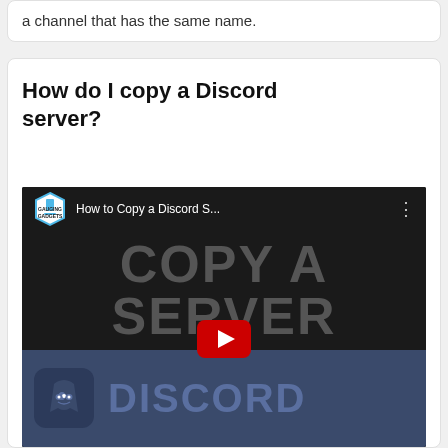a channel that has the same name.
How do I copy a Discord server?
[Figure (screenshot): YouTube video thumbnail for 'How to Copy a Discord S...' by Gauging Gadgets. Shows large grey text 'COPY A SERVER' on black background, a red YouTube play button in the center, and Discord branding on the lower half with Discord logo and 'DISCORD' text on a dark blue background.]